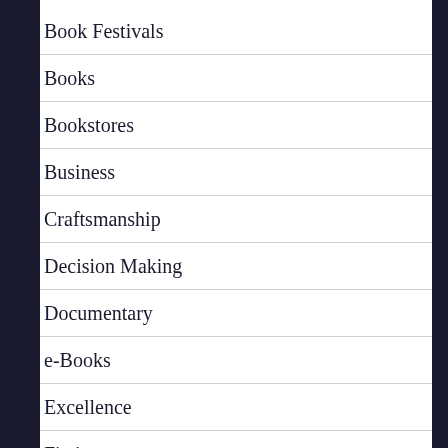Book Festivals
Books
Bookstores
Business
Craftsmanship
Decision Making
Documentary
e-Books
Excellence
Fiction